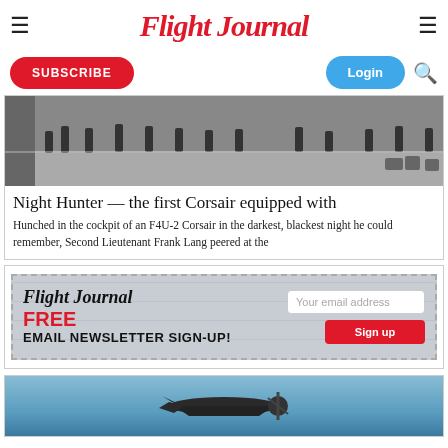Flight Journal
SUBSCRIBE
Login
[Figure (photo): Black and white photo of people on an aircraft carrier deck, viewed from under a wing]
Night Hunter — the first Corsair equipped with
Hunched in the cockpit of an F4U-2 Corsair in the darkest, blackest night he could remember, Second Lieutenant Frank Lang peered at the
[Figure (infographic): Flight Journal FREE EMAIL NEWSLETTER SIGN-UP! banner advertisement with email input and Sign up button]
[Figure (photo): Color photo of a WWII Japanese aircraft (Zero) flying low over blue water]